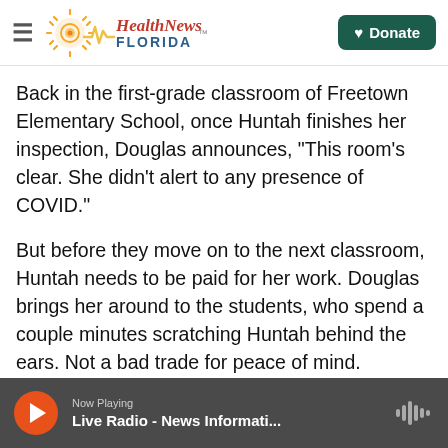Health News Florida — Donate
Back in the first-grade classroom of Freetown Elementary School, once Huntah finishes her inspection, Douglas announces, "This room's clear. She didn't alert to any presence of COVID."
But before they move on to the next classroom, Huntah needs to be paid for her work. Douglas brings her around to the students, who spend a couple minutes scratching Huntah behind the ears. Not a bad trade for peace of mind. Copyright 2022 NPR. To see more, visit https://www.npr.org.
Now Playing — Live Radio - News Informati...